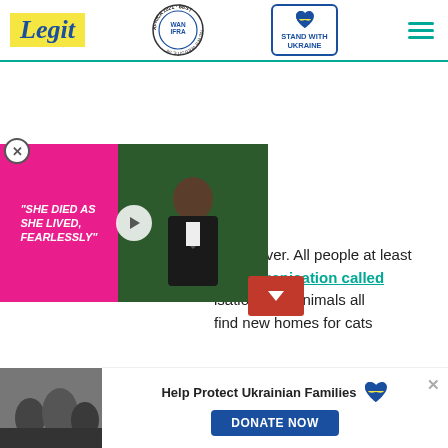Legit | WAN-IFRA Best News Website in Africa 2021 | Stand with Ukraine | Menu
[Figure (screenshot): Legit.ng website header with yellow Legit logo, WAN-IFRA 2021 Best News Website in Africa badge, Stand with Ukraine button with heart icon, and hamburger menu icon]
nimal lover. All people at least f the organisation called isation help animals all find new homes for cats
[Figure (screenshot): Video overlay showing a pink bar with text 'SHE DIED AS SHE LIVED, FEARLESSLY' and a man in a suit on a green background, with a play button in the center]
[Figure (photo): Thumbnail image of people, likely related to a news article]
Help Protect Ukrainian Families
DONATE NOW